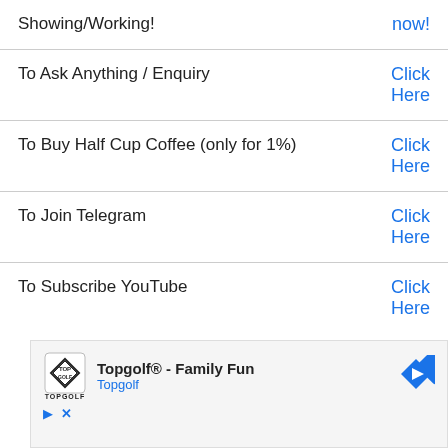| Showing/Working! | now! |
| To Ask Anything / Enquiry | Click Here |
| To Buy Half Cup Coffee (only for 1%) | Click Here |
| To Join Telegram | Click Here |
| To Subscribe YouTube | Click Here |
[Figure (infographic): Advertisement banner for Topgolf - Family Fun with Topgolf logo, navigation arrow icon, and ad controls (play and close buttons)]